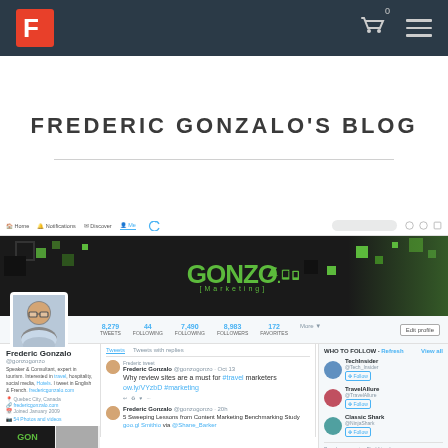Frederic Gonzalo's Blog - Navigation bar with logo, cart and menu
FREDERIC GONZALO'S BLOG
[Figure (screenshot): Screenshot of Frederic Gonzalo's Twitter profile page showing the Gonzo Marketing header image, profile photo, stats (8,279 posts, 44 following, 7,490 following, 8,983 followers, 172 favorites), tweets about travel marketing and content marketing benchmarking study, and Who to Follow sidebar suggestions (TechInsider, TravelAllure, Classic Shark)]